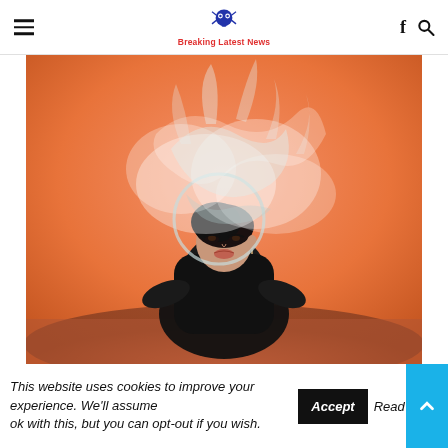Breaking Latest News
[Figure (photo): A woman in a black outfit seated against an orange background, wearing an elaborate translucent white sculptural headpiece that billows around her head. She gazes directly at the camera with dramatic makeup.]
This website uses cookies to improve your experience. We'll assume ok with this, but you can opt-out if you wish.